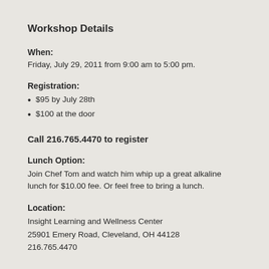Workshop Details
When: Friday, July 29, 2011 from 9:00 am to 5:00 pm.
Registration:
$95 by July 28th
$100 at the door
Call 216.765.4470 to register
Lunch Option: Join Chef Tom and watch him whip up a great alkaline lunch for $10.00 fee. Or feel free to bring a lunch.
Location: Insight Learning and Wellness Center 25901 Emery Road, Cleveland, OH 44128 216.765.4470